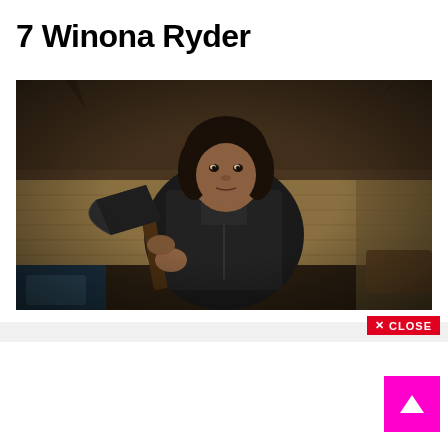7 Winona Ryder
[Figure (photo): A woman holding an axe sitting on a couch in a dark indoor scene, from the TV show Stranger Things featuring Winona Ryder's character]
CLOSE
[Figure (other): Magenta/pink scroll-to-top button with an upward pointing arrow]